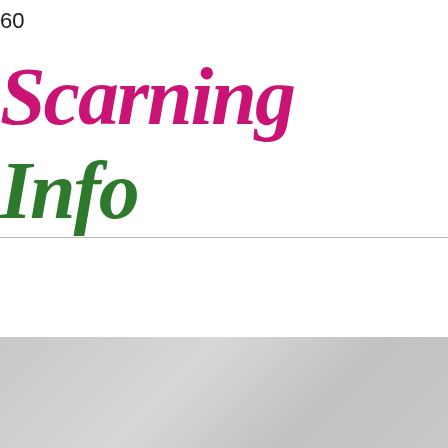60
fl
Scarning Info
Search our site
[Figure (other): Small box with italic red 'fl' text inside, with grey border]
[Figure (photo): Grey textured photo or image area at the bottom of the page]